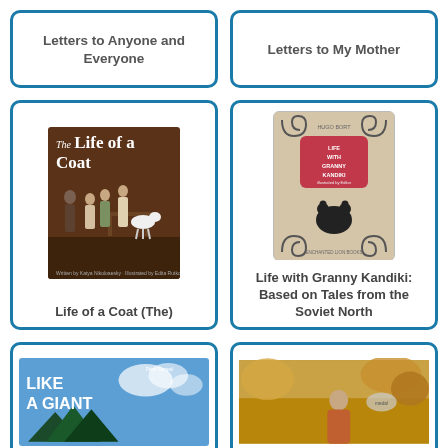[Figure (illustration): Book card with title text: Letters to Anyone and Everyone]
Letters to Anyone and Everyone
[Figure (illustration): Book card with title text: Letters to My Mother]
Letters to My Mother
[Figure (illustration): Book cover image: The Life of a Coat - illustrated children's book cover with figures and a goat on brown background]
Life of a Coat (The)
[Figure (illustration): Book cover image: Life with Granny Kandiki - beige cover with red badge, decorative scrolls, and black bear silhouette]
Life with Granny Kandiki: Based on Tales from the Soviet North
[Figure (illustration): Book cover: Like a Giant - blue sky cover with bold white text]
[Figure (illustration): Book cover showing a girl in autumn setting]